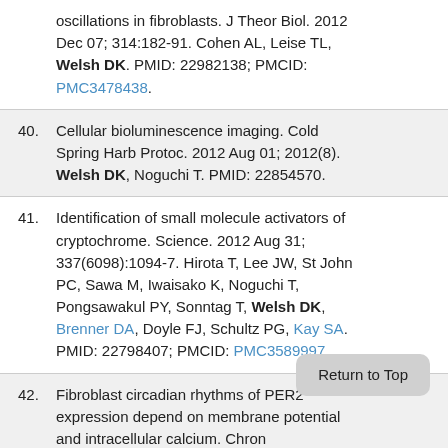oscillations in fibroblasts. J Theor Biol. 2012 Dec 07; 314:182-91. Cohen AL, Leise TL, Welsh DK. PMID: 22982138; PMCID: PMC3478438.
40. Cellular bioluminescence imaging. Cold Spring Harb Protoc. 2012 Aug 01; 2012(8). Welsh DK, Noguchi T. PMID: 22854570.
41. Identification of small molecule activators of cryptochrome. Science. 2012 Aug 31; 337(6098):1094-7. Hirota T, Lee JW, St John PC, Sawa M, Iwaisako K, Noguchi T, Pongsawakul PY, Sonntag T, Welsh DK, Brenner DA, Doyle FJ, Schultz PG, Kay SA. PMID: 22798407; PMCID: PMC3589997.
42. Fibroblast circadian rhythms of PER2 expression depend on membrane potential and intracellular calcium. Chronobiol Int. 2013 Jul; 29(6):653-64. Noguchi T, Watanabe K, Ogawa H, Welsh DK. PMID: 22734566; PMCID: PMC3491083.